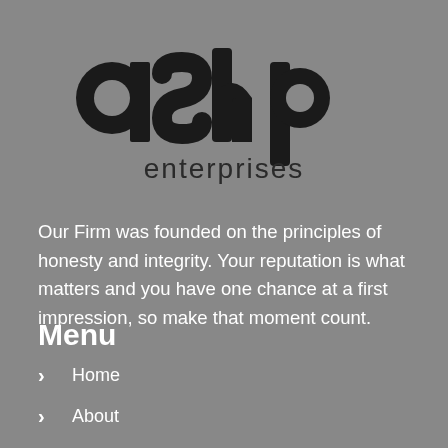[Figure (logo): ASHP Enterprises logo — bold rounded black letters 'ashp' above the word 'enterprises' in dark gray]
Our Firm was founded on the principles of honesty and integrity. Your reputation is what matters and you have one chance at a first impression, so make that moment count.
Menu
Home
About
Services